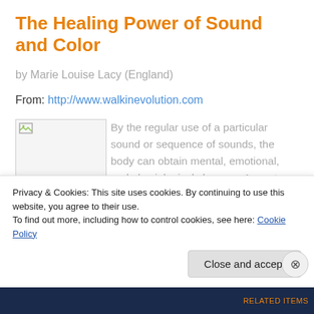The Healing Power of Sound and Color
by Marie Louise Lacy (England)
From: http://www.walkinevolution.com
[Figure (photo): Broken/missing image placeholder with small image icon in top-left corner]
By the regular use of a particular sound or sequence of sounds, the body can obtain mental, emotional, and physiological changes. A mantra sung, spoken or hummed regularly will induce a change in
Privacy & Cookies: This site uses cookies. By continuing to use this website, you agree to their use.
To find out more, including how to control cookies, see here: Cookie Policy
Close and accept